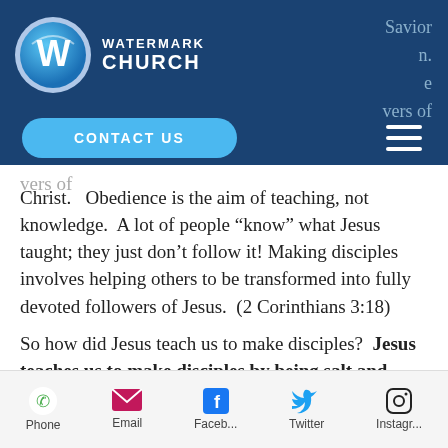[Figure (logo): Watermark Church logo: circular emblem with stylized W, text WATERMARK CHURCH]
Savior
n.
e
ers of
CONTACT US
Christ.   Obedience is the aim of teaching, not knowledge.  A lot of people “know” what Jesus taught; they just don’t follow it!  Making disciples involves helping others to be transformed into fully devoted followers of Jesus.  (2 Corinthians 3:18)
So how did Jesus teach us to make disciples?  Jesus teaches us to make disciples by being salt and light.
Phone  Email  Faceb...  Twitter  Instagr...